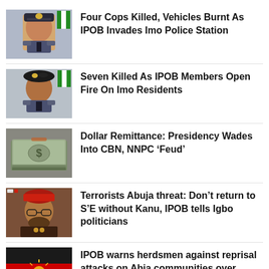Four Cops Killed, Vehicles Burnt As IPOB Invades Imo Police Station
Seven Killed As IPOB Members Open Fire On Imo Residents
Dollar Remittance: Presidency Wades Into CBN, NNPC ‘Feud’
Terrorists Abuja threat: Don’t return to S’E without Kanu, IPOB tells Igbo politicians
IPOB warns herdsmen against reprisal attacks on Abia communities over killing of cows